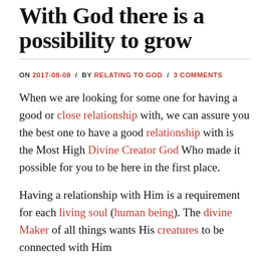With God there is a possibility to grow
ON 2017-08-08 / BY RELATING TO GOD / 3 COMMENTS
When we are looking for some one for having a good or close relationship with, we can assure you the best one to have a good relationship with is the Most High Divine Creator God Who made it possible for you to be here in the first place.
Having a relationship with Him is a requirement for each living soul (human being). The divine Maker of all things wants His creatures to be connected with Him